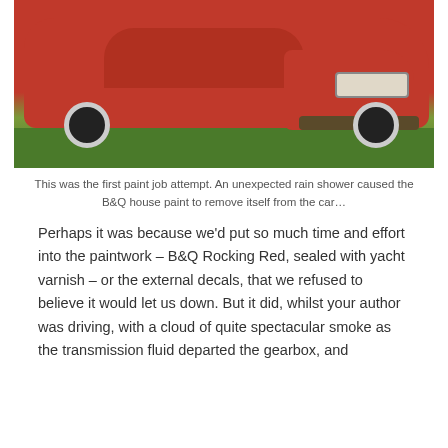[Figure (photo): A red car (sedan/hatchback) photographed from the front-left angle, parked on a driveway next to grass. The car has a red paint job, white/chrome wheels, and visible front headlights and bumper.]
This was the first paint job attempt. An unexpected rain shower caused the B&Q house paint to remove itself from the car…
Perhaps it was because we'd put so much time and effort into the paintwork – B&Q Rocking Red, sealed with yacht varnish – or the external decals, that we refused to believe it would let us down. But it did, whilst your author was driving, with a cloud of quite spectacular smoke as the transmission fluid departed the gearbox, and